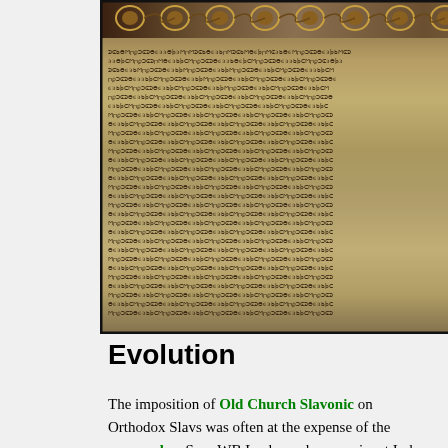[Figure (photo): Photograph of an ancient stone tablet or inscription with ornate decorative border at top and dense lines of Glagolitic or early Slavic script carved into the stone surface. The stone appears cracked.]
Evolution
The imposition of Old Church Slavonic on Orthodox Slavs was often at the expense of the vernacular. Says WB Lockwood, a prominent Indo-European linguist, "It ( O.C.S) remained in use to modern times but was more and more influenced by the living, evolving languages, so that one distinguishes Bulgarian, Serbian, and Russian varieties. The use of such media hampered the development of the local languages for literary purposes, and when they do appear the first attempts are usually in an artificially mixed style." (148) Lockwood also notes that these languages have "enriched" themselves by drawing on Church Slavonic for the vocabulary of abstract concepts. The situation in the Catholic countries, where Latin was more important, was different. The Polish Renaissance poet